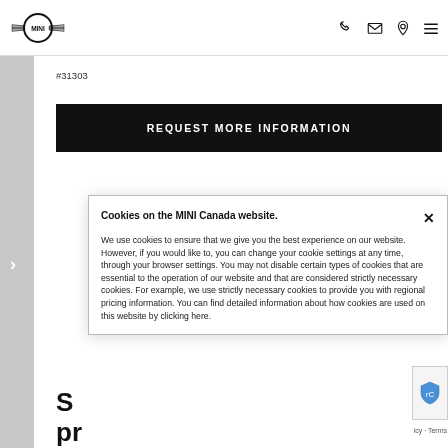MINI Canada website header with logo, phone, email, location, and menu icons
#31303
REQUEST MORE INFORMATION
Cookies on the MINI Canada website.
We use cookies to ensure that we give you the best experience on our website. However, if you would like to, you can change your cookie settings at any time, through your browser settings. You may not disable certain types of cookies that are essential to the operation of our website and that are considered strictly necessary cookies. For example, we use strictly necessary cookies to provide you with regional pricing information. You can find detailed information about how cookies are used on this website by clicking here.
St... pr...